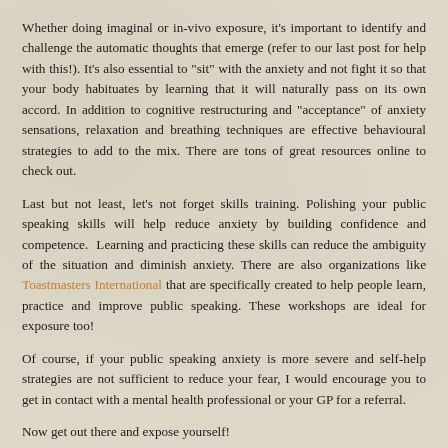Whether doing imaginal or in-vivo exposure, it's important to identify and challenge the automatic thoughts that emerge (refer to our last post for help with this!). It's also essential to "sit" with the anxiety and not fight it so that your body habituates by learning that it will naturally pass on its own accord. In addition to cognitive restructuring and "acceptance" of anxiety sensations, relaxation and breathing techniques are effective behavioural strategies to add to the mix. There are tons of great resources online to check out.
Last but not least, let's not forget skills training. Polishing your public speaking skills will help reduce anxiety by building confidence and competence.  Learning and practicing these skills can reduce the ambiguity of the situation and diminish anxiety. There are also organizations like Toastmasters International that are specifically created to help people learn, practice and improve public speaking. These workshops are ideal for exposure too!
Of course, if your public speaking anxiety is more severe and self-help strategies are not sufficient to reduce your fear, I would encourage you to get in contact with a mental health professional or your GP for a referral.
Now get out there and expose yourself!